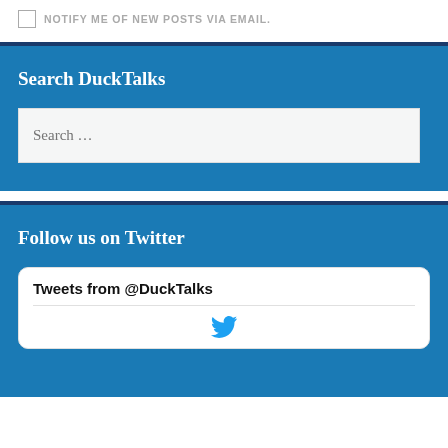NOTIFY ME OF NEW POSTS VIA EMAIL.
Search DuckTalks
Search ...
Follow us on Twitter
Tweets from @DuckTalks